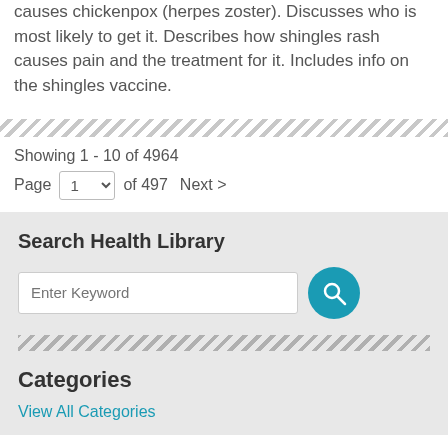Discusses shingles, a condition caused by the virus that causes chickenpox (herpes zoster). Discusses who is most likely to get it. Describes how shingles rash causes pain and the treatment for it. Includes info on the shingles vaccine.
Showing 1 - 10 of 4964
Page 1 of 497 Next >
Search Health Library
Enter Keyword
Categories
View All Categories